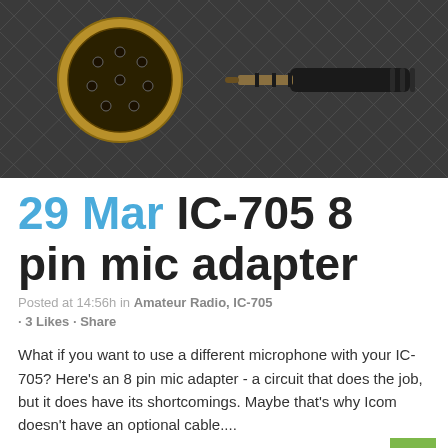[Figure (photo): Photo of an 8-pin circular DIN connector (gold-plated female) and a 3.5mm TRRS audio jack plug lying on a dark grid cutting mat background]
29 Mar IC-705 8 pin mic adapter
Posted at 14:56h in Amateur Radio, IC-705
• 3 Likes • Share
What if you want to use a different microphone with your IC-705? Here's an 8 pin mic adapter - a circuit that does the job, but it does have its shortcomings. Maybe that's why Icom doesn't have an optional cable....